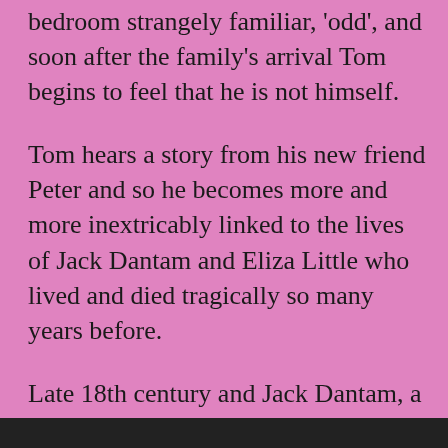bedroom strangely familiar, 'odd', and soon after the family's arrival Tom begins to feel that he is not himself.
Tom hears a story from his new friend Peter and so he becomes more and more inextricably linked to the lives of Jack Dantam and Eliza Little who lived and died tragically so many years before.
Late 18th century and Jack Dantam, a notorious smuggler, is in love with a woman of reasonable means, Eliza Little, who lives alone in a house on the outskirts of a coastal village. Their affair is decadent and